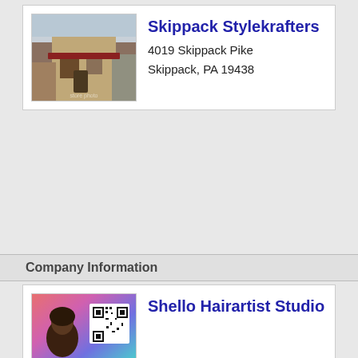[Figure (photo): Exterior photo of Skippack Stylekrafters building]
Skippack Stylekrafters
4019 Skippack Pike
Skippack, PA 19438
Company Information
[Figure (photo): Photo with person and QR code for Shello Hairartist Studio]
Shello Hairartist Studio